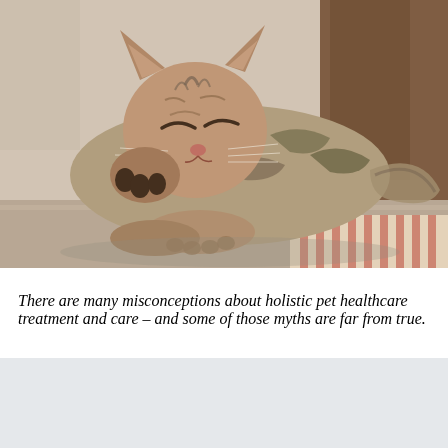[Figure (photo): A sleeping tabby kitten curled up on a surface, with one paw raised near its face. The kitten has striped markings and appears peaceful. Background shows wooden elements and a striped surface in the lower right corner. Photo has a warm, slightly desaturated tone.]
There are many misconceptions about holistic pet healthcare treatment and care – and some of those myths are far from true.